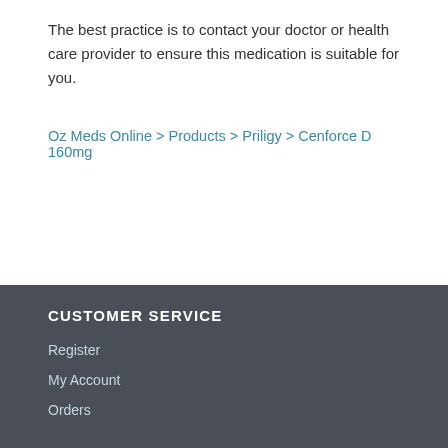The best practice is to contact your doctor or health care provider to ensure this medication is suitable for you.
Oz Meds Online > Products > Priligy > Cenforce D 160mg
CUSTOMER SERVICE
Register
My Account
Orders